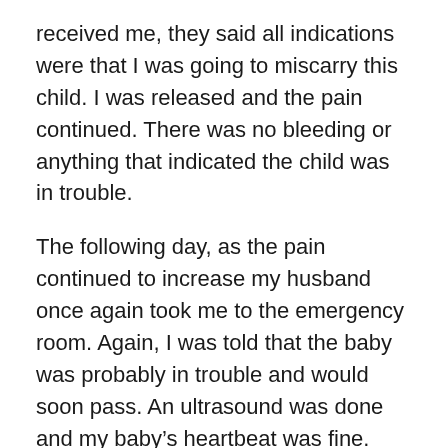received me, they said all indications were that I was going to miscarry this child. I was released and the pain continued. There was no bleeding or anything that indicated the child was in trouble.
The following day, as the pain continued to increase my husband once again took me to the emergency room. Again, I was told that the baby was probably in trouble and would soon pass. An ultrasound was done and my baby's heartbeat was fine. Beating as strong as mine was. The pain became increasingly worse and once again, I was sent home to wait. At this time, all I could do was lay down and wait in agony. I didn't know what was taking place and I couldn't understand why they couldn't do anything to save my baby if her heart was beating as strong as it was.
The following morning, which was Monday, my Doctor